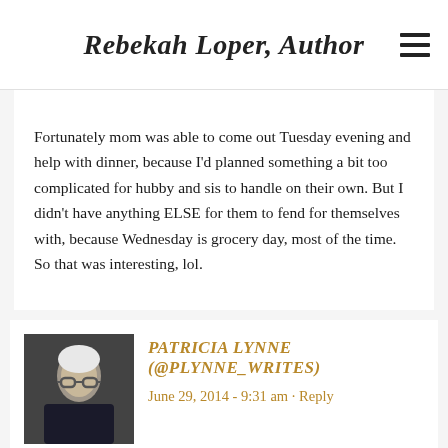Rebekah Loper, Author
Fortunately mom was able to come out Tuesday evening and help with dinner, because I'd planned something a bit too complicated for hubby and sis to handle on their own. But I didn't have anything ELSE for them to fend for themselves with, because Wednesday is grocery day, most of the time. So that was interesting, lol.
PATRICIA LYNNE (@PLYNNE_WRITES)
June 29, 2014 - 9:31 am · Reply